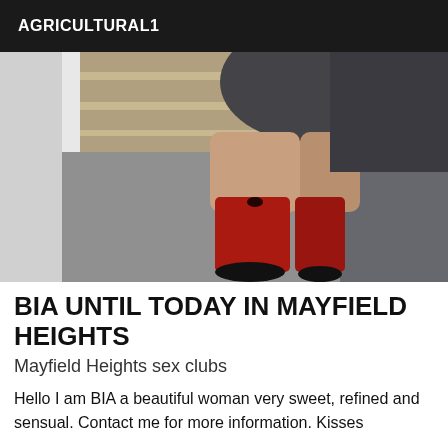AGRICULTURAL1
[Figure (photo): Mirror selfie photo showing the lower body of a person wearing red thigh-high stockings/socks with a small bow, a short dark skirt or dress, and black shoes, standing on grey carpet in front of wooden paneling.]
BIA UNTIL TODAY IN MAYFIELD HEIGHTS
Mayfield Heights sex clubs
Hello I am BIA a beautiful woman very sweet, refined and sensual. Contact me for more information. Kisses